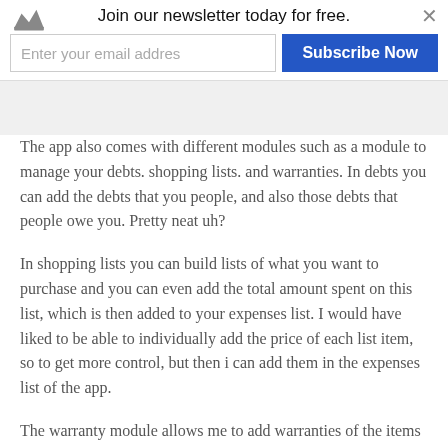Join our newsletter today for free.
The app also comes with different modules such as a module to manage your debts. shopping lists. and warranties. In debts you can add the debts that you people, and also those debts that people owe you. Pretty neat uh?
In shopping lists you can build lists of what you want to purchase and you can even add the total amount spent on this list, which is then added to your expenses list. I would have liked to be able to individually add the price of each list item, so to get more control, but then i can add them in the expenses list of the app.
The warranty module allows me to add warranties of the items that i have purchased and it tells me how much time is left after i enter in all of the details.